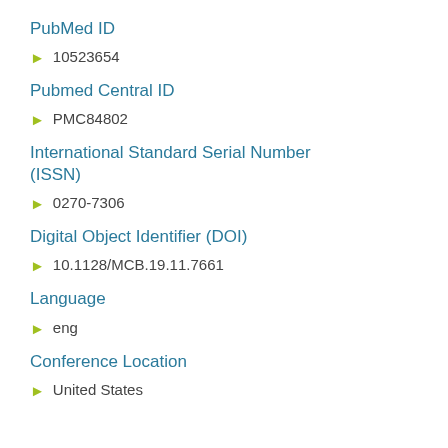PubMed ID
10523654
Pubmed Central ID
PMC84802
International Standard Serial Number (ISSN)
0270-7306
Digital Object Identifier (DOI)
10.1128/MCB.19.11.7661
Language
eng
Conference Location
United States